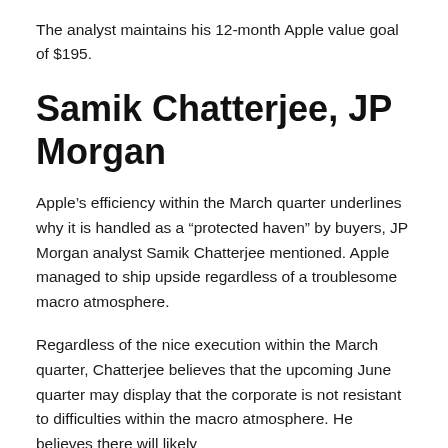The analyst maintains his 12-month Apple value goal of $195.
Samik Chatterjee, JP Morgan
Apple’s efficiency within the March quarter underlines why it is handled as a “protected haven” by buyers, JP Morgan analyst Samik Chatterjee mentioned. Apple managed to ship upside regardless of a troublesome macro atmosphere.
Regardless of the nice execution within the March quarter, Chatterjee believes that the upcoming June quarter may display that the corporate is not resistant to difficulties within the macro atmosphere. He believes there will likely